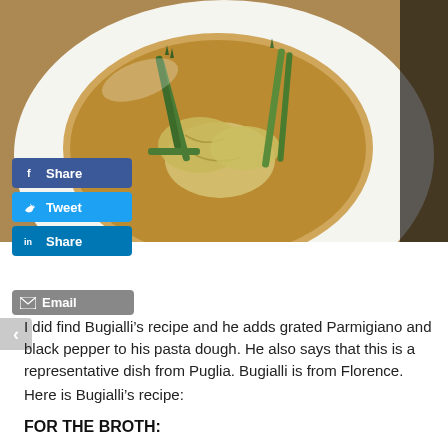[Figure (photo): A white bowl containing pasta (ravioli or similar) in a golden broth with green asparagus spears, photographed from above on a white surface.]
I did find Bugialli's recipe and he adds grated Parmigiano and black pepper to his pasta dough. He also says that this is a representative dish from Puglia. Bugialli is from Florence.
Here is Bugialli's recipe:
FOR THE BROTH: